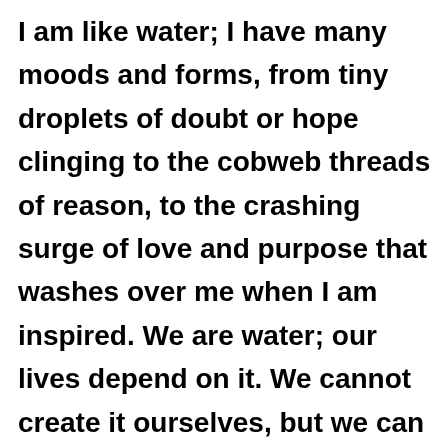I am like water; I have many moods and forms, from tiny droplets of doubt or hope clinging to the cobweb threads of reason, to the crashing surge of love and purpose that washes over me when I am inspired. We are water; our lives depend on it. We cannot create it ourselves, but we can be ever grateful that it is all around us. We must protect it in its many